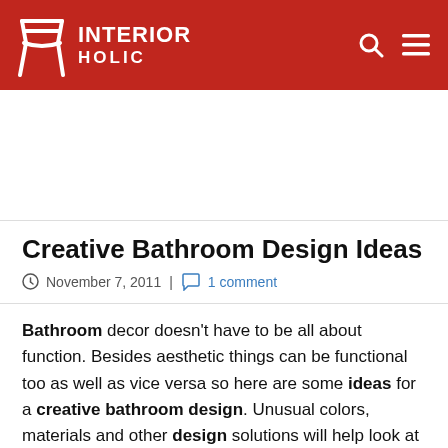INTERIOR HOLIC
Creative Bathroom Design Ideas
November 7, 2011 | 1 comment
Bathroom decor doesn't have to be all about function. Besides aesthetic things can be functional too as well as vice versa so here are some ideas for a creative bathroom design. Unusual colors, materials and other design solutions will help look at the bathroom with new and fresh eyes. Before decorating think and choose the style you want in the bathroom. Do you want to make it look more room-like or hi-tech?